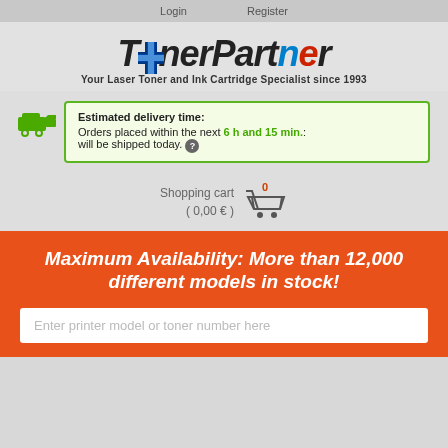Login   Register
[Figure (logo): TonerPartner logo with Finnish flag cross replacing the 'o', colorful letters, tagline: Your Laser Toner and Ink Cartridge Specialist since 1993]
Estimated delivery time: Orders placed within the next 6 h and 15 min.: will be shipped today.
Shopping cart ( 0,00 € )
Maximum Availability: More than 12,000 different models in stock!
Enter printer model or toner number here